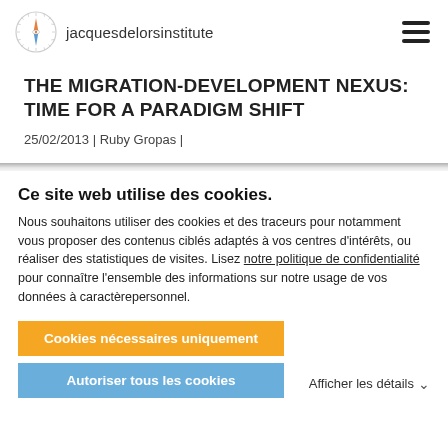jacquesdelorsinstitute
THE MIGRATION-DEVELOPMENT NEXUS: TIME FOR A PARADIGM SHIFT
25/02/2013 | Ruby Gropas |
Ce site web utilise des cookies.
Nous souhaitons utiliser des cookies et des traceurs pour notamment vous proposer des contenus ciblés adaptés à vos centres d'intérêts, ou réaliser des statistiques de visites. Lisez notre politique de confidentialité pour connaître l'ensemble des informations sur notre usage de vos données à caractèrepersonnel.
Cookies nécessaires uniquement
Autoriser tous les cookies
Afficher les détails